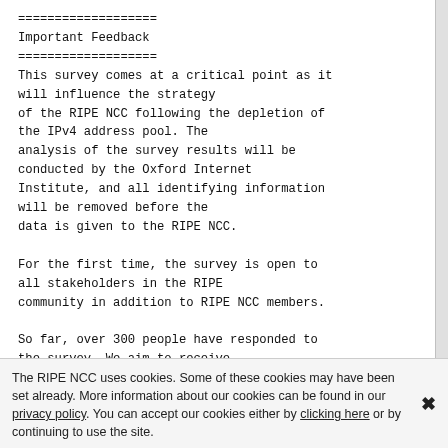===================
Important Feedback
===================
This survey comes at a critical point as it will influence the strategy of the RIPE NCC following the depletion of the IPv4 address pool. The analysis of the survey results will be conducted by the Oxford Internet Institute, and all identifying information will be removed before the data is given to the RIPE NCC.

For the first time, the survey is open to all stakeholders in the RIPE community in addition to RIPE NCC members.

So far, over 300 people have responded to the survey. We aim to receive 1,000 responses by the survey closing date
The RIPE NCC uses cookies. Some of these cookies may have been set already. More information about our cookies can be found in our privacy policy. You can accept our cookies either by clicking here or by continuing to use the site.